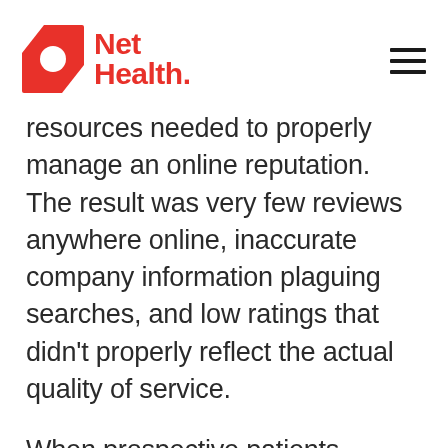Net Health
resources needed to properly manage an online reputation. The result was very few reviews anywhere online, inaccurate company information plaguing searches, and low ratings that didn't properly reflect the actual quality of service.
When prospective patients searched online for “Jupiter physical therapy near me,” the company had minimal visibility accompanied by a misrepresentation of what they brought to the table.